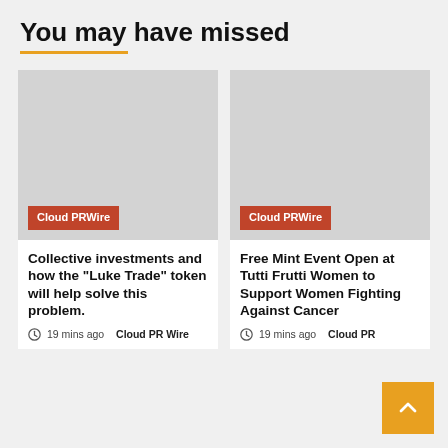You may have missed
[Figure (photo): Placeholder image (gray rectangle) with Cloud PRWire badge overlay — left card]
Collective investments and how the “Luke Trade” token will help solve this problem.
19 mins ago  Cloud PR Wire
[Figure (photo): Placeholder image (gray rectangle) with Cloud PRWire badge overlay — right card]
Free Mint Event Open at Tutti Frutti Women to Support Women Fighting Against Cancer
19 mins ago  Cloud PR Wire